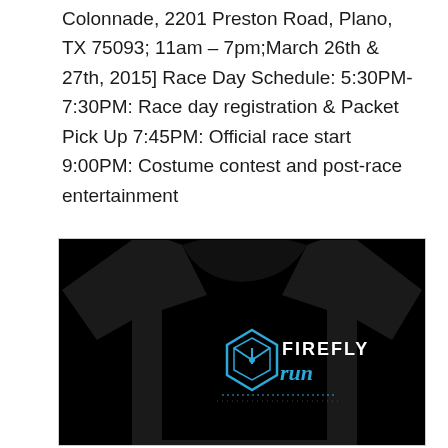Colonnade, 2201 Preston Road, Plano, TX 75093; 11am – 7pm;March 26th & 27th, 2015] Race Day Schedule: 5:30PM- 7:30PM: Race day registration & Packet Pick Up 7:45PM: Official race start 9:00PM: Costume contest and post-race entertainment
[Figure (photo): Black t-shirt with Firefly Run logo — a blue hexagonal emblem with a stylized Y shape inside, text reading FIREFLY in white dotted/pixel font and 'run' in blue italic cursive font, plus decorative dotted lines below the logo.]